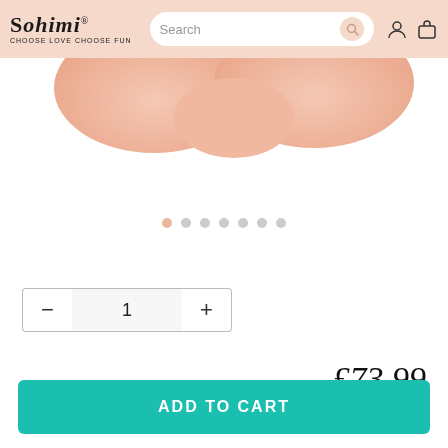SOHIMI® CHOOSE LOVE CHOOSE FUN — Search bar — user icon — cart icon
[Figure (photo): Product image showing a peach/skin-toned product partially visible at the top of the page]
[Figure (other): Image carousel dot indicators — 7 dots, first dot active (peach/salmon color), rest grey]
1 (quantity stepper with minus and plus buttons)
£73.99
ADD TO CART